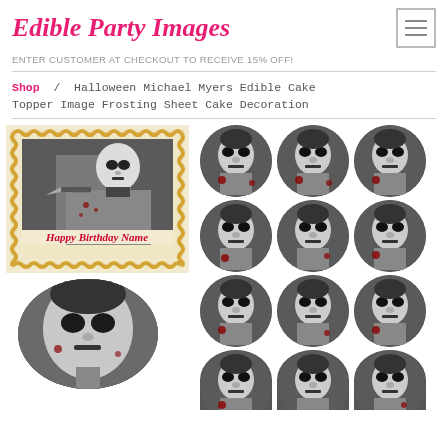Edible Party Images
ENTER CUSTOMER AT CHECKOUT TO RECEIVE 15% OFF!
Shop / Halloween Michael Myers Edible Cake Topper Image Frosting Sheet Cake Decoration
[Figure (photo): Product photos showing Halloween Michael Myers edible cake topper on a square cake with 'Happy Birthday Name' text, and multiple round cupcake toppers with Michael Myers image arranged in a 3-column grid, plus a partial round image at bottom left.]